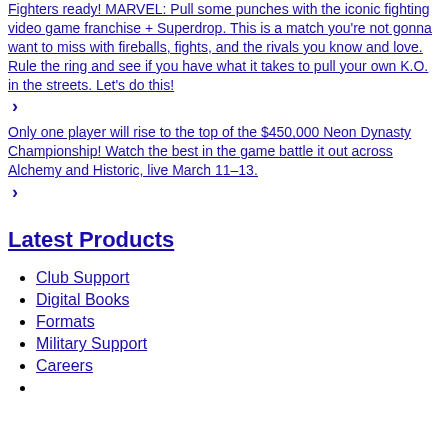Fighters ready! MARVEL: Pull some punches with the iconic fighting video game franchise + Superdrop. This is a match you're not gonna want to miss with fireballs, fights, and the rivals you know and love. Rule the ring and see if you have what it takes to pull your own K.O. in the streets. Let's do this!
>
Only one player will rise to the top of the $450,000 Neon Dynasty Championship! Watch the best in the game battle it out across Alchemy and Historic, live March 11–13.
>
Latest Products
Club Support
Digital Books
Formats
Military Support
Careers